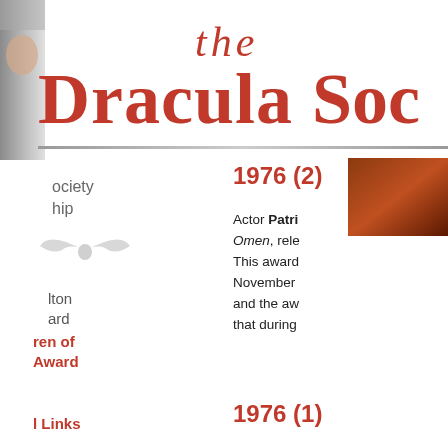[Figure (illustration): Partial portrait photo on left edge]
the Dracula Soc
[Figure (illustration): Brown/dark decorative image top right corner]
ociety
hip
[Figure (illustration): Bat or creature decoration on left]
1976 (2)
lton
ard
ren of Award
Actor Patri Omen, rele This award November and the aw that during
1976 (1)
l Links